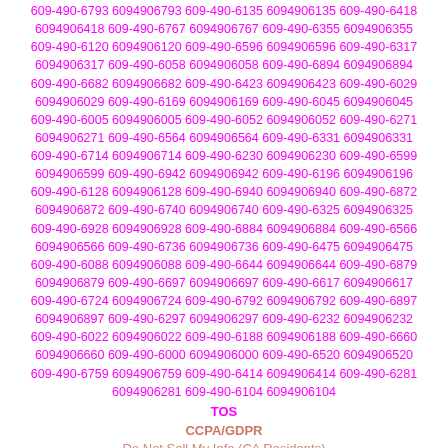609-490-6793 6094906793 609-490-6135 6094906135 609-490-6418 6094906418 609-490-6767 6094906767 609-490-6355 6094906355 609-490-6120 6094906120 609-490-6596 6094906596 609-490-6317 6094906317 609-490-6058 6094906058 609-490-6894 6094906894 609-490-6682 6094906682 609-490-6423 6094906423 609-490-6029 6094906029 609-490-6169 6094906169 609-490-6045 6094906045 609-490-6005 6094906005 609-490-6052 6094906052 609-490-6271 6094906271 609-490-6564 6094906564 609-490-6331 6094906331 609-490-6714 6094906714 609-490-6230 6094906230 609-490-6599 6094906599 609-490-6942 6094906942 609-490-6196 6094906196 609-490-6128 6094906128 609-490-6940 6094906940 609-490-6872 6094906872 609-490-6740 6094906740 609-490-6325 6094906325 609-490-6928 6094906928 609-490-6884 6094906884 609-490-6566 6094906566 609-490-6736 6094906736 609-490-6475 6094906475 609-490-6088 6094906088 609-490-6644 6094906644 609-490-6879 6094906879 609-490-6697 6094906697 609-490-6617 6094906617 609-490-6724 6094906724 609-490-6792 6094906792 609-490-6897 6094906897 609-490-6297 6094906297 609-490-6232 6094906232 609-490-6022 6094906022 609-490-6188 6094906188 609-490-6660 6094906660 609-490-6000 6094906000 609-490-6520 6094906520 609-490-6759 6094906759 609-490-6414 6094906414 609-490-6281 6094906281 609-490-6104 6094906104
TOS
CCPA/GDPR
Do Not Sell My Info (CA Residents)